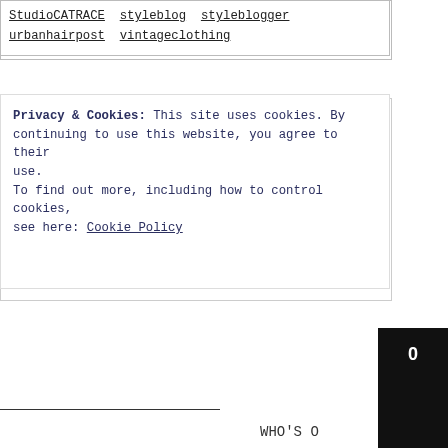StudioCATRACE styleblog styleblogger urbanhairpost vintageclothing
Privacy & Cookies: This site uses cookies. By continuing to use this website, you agree to their use.
To find out more, including how to control cookies, see here: Cookie Policy
Close and ac
0
PASSWORD
REMEMBER ME
Log in
Register
WHO'S O
WHATSAPP HOT LINE